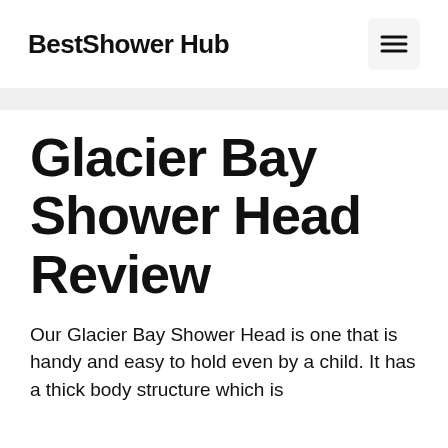BestShower Hub
Glacier Bay Shower Head Review
Our Glacier Bay Shower Head is one that is handy and easy to hold even by a child. It has a thick body structure which is